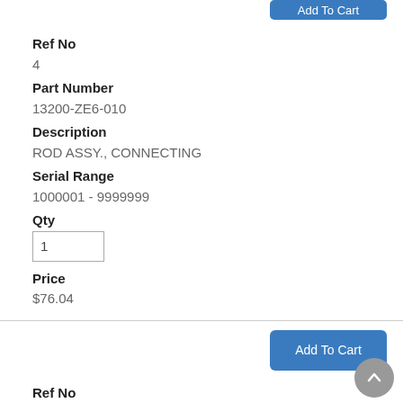Add To Cart
Ref No
4
Part Number
13200-ZE6-010
Description
ROD ASSY., CONNECTING
Serial Range
1000001 - 9999999
Qty
1
Price
$76.04
Add To Cart
Ref No
4
Part Number
13200-ZE6-315